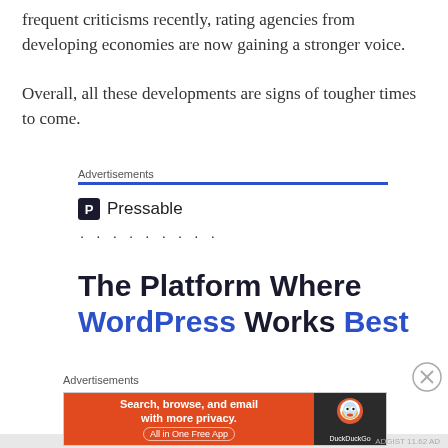frequent criticisms recently, rating agencies from developing economies are now gaining a stronger voice.
Overall, all these developments are signs of tougher times to come.
Advertisements
[Figure (other): Pressable advertisement with logo, dots, and headline 'The Platform Where WordPress Works Best']
Advertisements
[Figure (other): DuckDuckGo advertisement banner: Search, browse, and email with more privacy. All in One Free App]